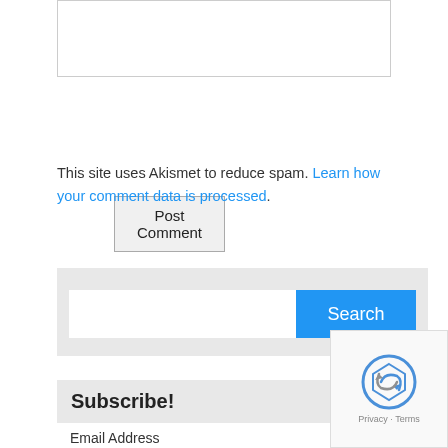[Figure (other): Text input box (comment field), partially visible at top of page]
Post Comment
This site uses Akismet to reduce spam. Learn how your comment data is processed.
[Figure (other): Search widget with text input field and blue Search button]
Subscribe!
Email Address
[Figure (other): Email address input field]
[Figure (other): reCAPTCHA widget showing logo and Privacy - Terms text]